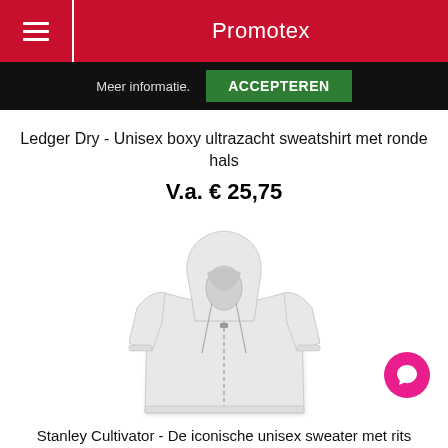Promotex
Meer informatie.   ACCEPTEREN
Ledger Dry - Unisex boxy ultrazacht sweatshirt met ronde hals
V.a. € 25,75
[Figure (photo): Light grey zip-up hoodie sweatshirt with hood, full front zipper and drawstrings, displayed flat on white background]
Stanley Cultivator - De iconische unisex sweater met rits